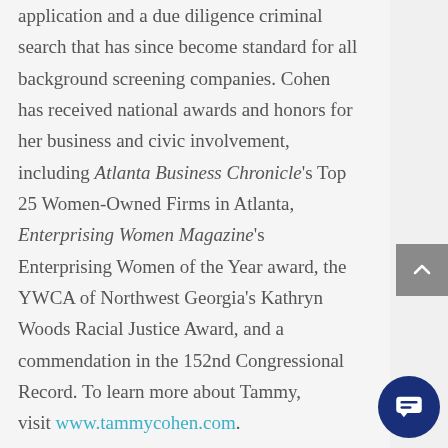application and a due diligence criminal search that has since become standard for all background screening companies. Cohen has received national awards and honors for her business and civic involvement, including Atlanta Business Chronicle's Top 25 Women-Owned Firms in Atlanta, Enterprising Women Magazine's Enterprising Women of the Year award, the YWCA of Northwest Georgia's Kathryn Woods Racial Justice Award, and a commendation in the 152nd Congressional Record. To learn more about Tammy, visit www.tammycohen.com.